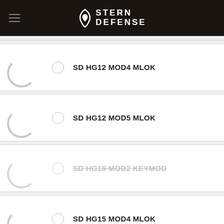STERN DEFENSE
SD HG12 MOD4 MLOK
SD HG12 MOD5 MLOK
SD HG15 MOD2 KEYMOD
SD HG15 MOD4 MLOK